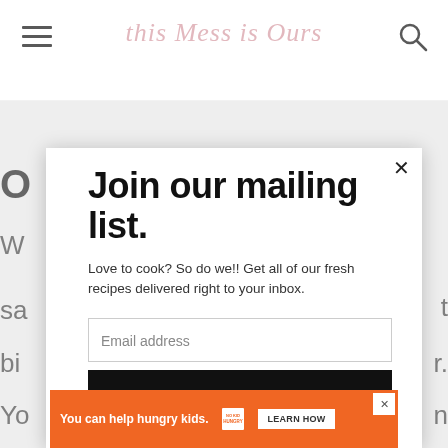This Mess is Ours
Join our mailing list.
Love to cook? So do we!! Get all of our fresh recipes delivered right to your inbox.
Email address
Subscribe
You can help hungry kids. NO KID HUNGRY LEARN HOW